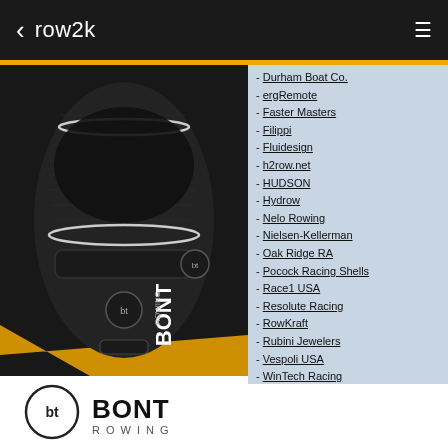row2k
[Figure (photo): Close-up photo of a Bont Rowing shoe, showing carbon fiber construction, black mesh upper, and brand logo. Positioned on white and yellow background.]
- Durham Boat Co.
- ergRemote
- Faster Masters
- Filippi
- Fluidesign
- h2row.net
- HUDSON
- Hydrow
- Nelo Rowing
- Nielsen-Kellerman
- Oak Ridge RA
- Pocock Racing Shells
- Race1 USA
- Resolute Racing
- RowKraft
- Rubini Jewelers
- Vespoli USA
- WinTech Racing
Advertise on row2k
[Figure (logo): Bont Rowing logo at the bottom of the page]